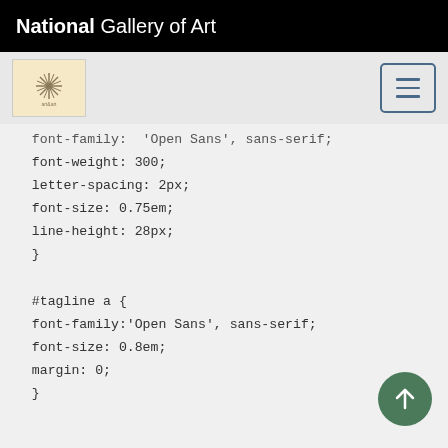National Gallery of Art
[Figure (screenshot): Navigation bar with NGA logo icon and hamburger menu button on gray background]
font-family:  'Open Sans', sans-serif;
font-weight: 300;
letter-spacing: 2px;
font-size: 0.75em;
line-height: 28px;
}

#tagline a {
font-family:'Open Sans', sans-serif;
font-size: 0.8em;
margin: 0;
}


/*Prettifying links in body content*/

.mw-content-ltr p > a:hover {
background-color: #DEF;